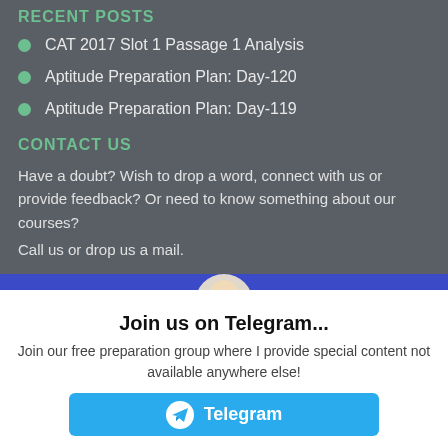RECENT POSTS
CAT 2017 Slot 1 Passage 1 Analysis
Aptitude Preparation Plan: Day-120
Aptitude Preparation Plan: Day-119
CONTACT US
Have a doubt? Wish to drop a word, connect with us or provide feedback? Or need to know something about our courses?
Call us or drop us a mail.
[Figure (illustration): A cartoon avatar of a bald smiling man, used as popup mascot]
Join us on Telegram...
Join our free preparation group where I provide special content not available anywhere else!
Telegram